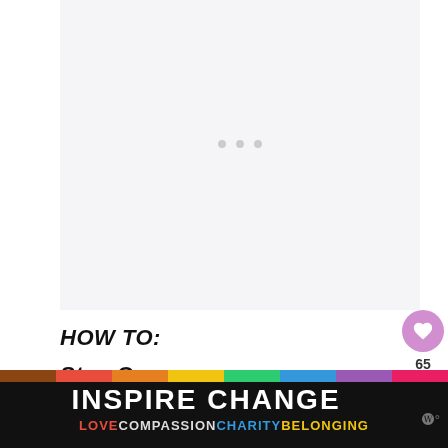[Figure (other): Large light gray placeholder image area with three small gray dots in the center indicating loading or empty image state]
How to:
Step One
[Figure (infographic): Bottom advertisement banner with black background reading INSPIRE CHANGE in white bold letters with a multicolored rainbow strip. Below reads LOVE COMPASSION CHARITY BELONGING in colored text. An X close button is visible at top right of the banner.]